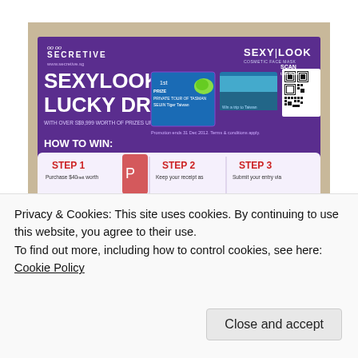[Figure (photo): A photograph of a purple promotional flyer for 'SEXYLOOK LUCKY DRAW' by Secretive (www.secretive.sg). The flyer shows a lucky draw promotion with prizes including what appears to be a trip, text reading 'WITH OVER S$9,999 WORTH OF PRIZES UP FOR GRABS', 'HOW TO WIN:', 'STEP 1 Purchase $40nett worth', 'STEP 2 Keep your receipt as', 'STEP 3 Submit your entry via', a QR code labeled 'SCAN this now!', and '1st PRIZE PRIVATE TOUR OF TASMAN SEUIN Tiger Taiwan'. The flyer is placed on a light beige/tan surface.]
Privacy & Cookies: This site uses cookies. By continuing to use this website, you agree to their use.
To find out more, including how to control cookies, see here: Cookie Policy
Close and accept